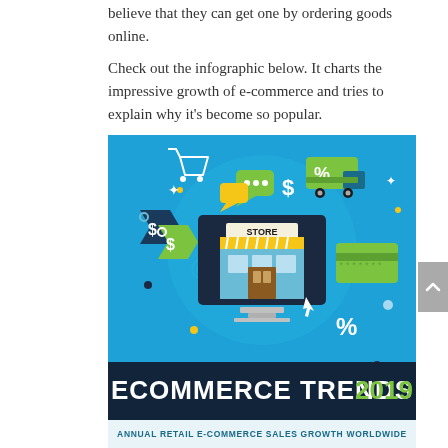believe that they can get one by ordering goods online.
Check out the infographic below. It charts the impressive growth of e-commerce and tries to explain why it's become so popular.
[Figure (infographic): E-commerce themed infographic illustration with shopping cart, chat bubbles, dollar signs, delivery truck with % sign, price tags with $ symbols, @ symbol, a computer monitor showing a store front with awning labeled STORE, credit card, % symbol, and a dark blue banner at the bottom reading ECOMMERCE TRENDS 2019 in white and green text. Background is bright blue.]
ANNUAL RETAIL E-COMMERCE SALES GROWTH WORLDWIDE